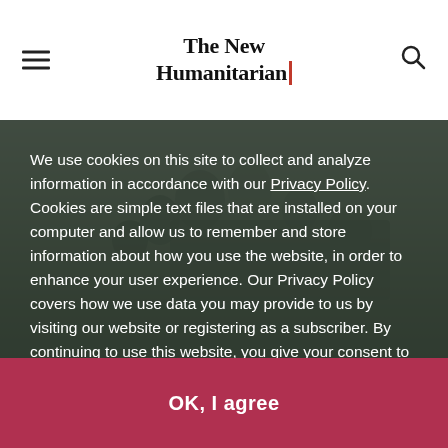The New Humanitarian
[Figure (photo): Crowd of people photographed outdoors, appearing to be a humanitarian or news scene, muted tones with people in foreground]
We use cookies on this site to collect and analyze information in accordance with our Privacy Policy. Cookies are simple text files that are installed on your computer and allow us to remember and store information about how you use the website, in order to enhance your user experience. Our Privacy Policy covers how we use data you may provide to us by visiting our website or registering as a subscriber. By continuing to use this website, you give your consent to our Privacy Policy and to our use of cookies.
OK, I agree